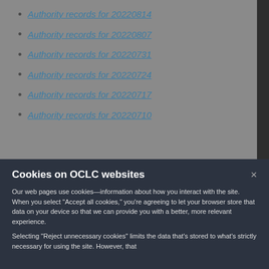Authority records for 20220814
Authority records for 20220807
Authority records for 20220731
Authority records for 20220724
Authority records for 20220717
Authority records for 20220710
Cookies on OCLC websites
Our web pages use cookies—information about how you interact with the site. When you select “Accept all cookies,” you’re agreeing to let your browser store that data on your device so that we can provide you with a better, more relevant experience.
Selecting “Reject unnecessary cookies” limits the data that’s stored to what’s strictly necessary for using the site. However, that